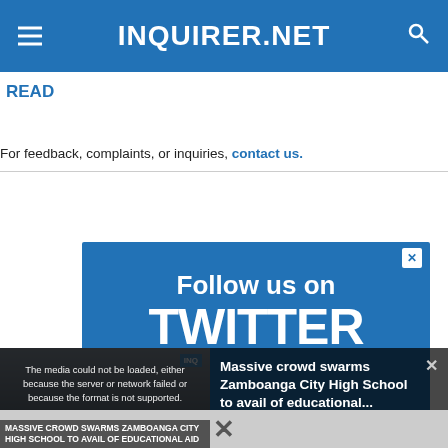INQUIRER.NET
READ
For feedback, complaints, or inquiries, contact us.
[Figure (screenshot): Advertisement banner on a blue background saying 'Follow us on TWITTER' with a close button]
[Figure (screenshot): Video player overlay showing 'The media could not be loaded, either because the server or network failed or because the format is not supported.' with article thumbnail showing crowd at Zamboanga City High School and headline 'Massive crowd swarms Zamboanga City High School to avail of educational...']